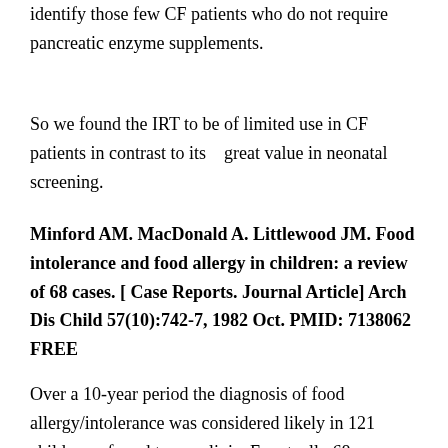identify those few CF patients who do not require pancreatic enzyme supplements.
So we found the IRT to be of limited use in CF patients in contrast to its   great value in neonatal screening.
Minford AM. MacDonald A. Littlewood JM. Food intolerance and food allergy in children: a review of 68 cases. [ Case Reports. Journal Article] Arch Dis Child 57(10):742-7, 1982 Oct. PMID: 7138062 FREE
Over a 10-year period the diagnosis of food allergy/intolerance was considered likely in 121 children referred to my clinic. Eventually 68 were considered to have definite food intolerance and food allergy. Forty eight (70%) presented with